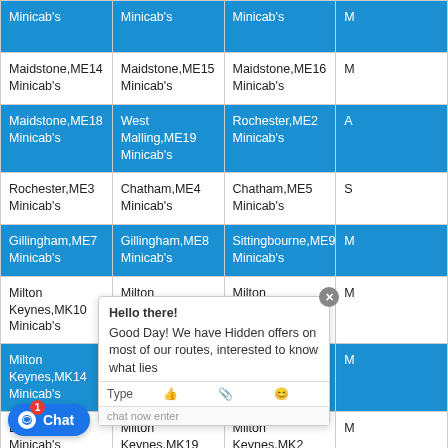| Col1 | Col2 | Col3 | Col4(partial) |
| --- | --- | --- | --- |
| Minicab's | Minicab's | Minicab's | M |
| Maidstone,ME14 Minicab's | Maidstone,ME15 Minicab's | Maidstone,ME16 Minicab's | M |
| Maidstone,ME18 Minicab's | West Malling,ME19 Minicab's | Rochester,ME2 Minicab's | A |
| Rochester,ME3 Minicab's | Chatham,ME4 Minicab's | Chatham,ME5 Minicab's | S |
| Gillingham,ME7 Minicab's | Gillingham,ME8 Minicab's | Sittingbourne,ME9 Minicab's | M |
| Milton Keynes,MK10 Minicab's | Milton Keynes,MK11 Minicab's | Milton Keynes,MK12 Minicab's | M |
| Milton Keynes,MK14 Minicab's | Milton Keynes,MK15 Minicab's | Newport Pagnell,MK16 Minicab's | M |
| Buckingham Minicab's | Milton Keynes,MK19 Minicab's | Milton Keynes,MK2 Minicab's | M |
| Milton Keynes Minicab's | Bedford,MK40 Minicab's | Bedford,MK41 Minicab's | B |
| Bedford,MK43 | Bedford,MK44 Minicab's | Bedford,MK45 Minicab's | C |
| ... | ... | ... | ... |
Hello there!
Good Day! We have Hidden offers on most of our routes, interested to know what lies...
Chat